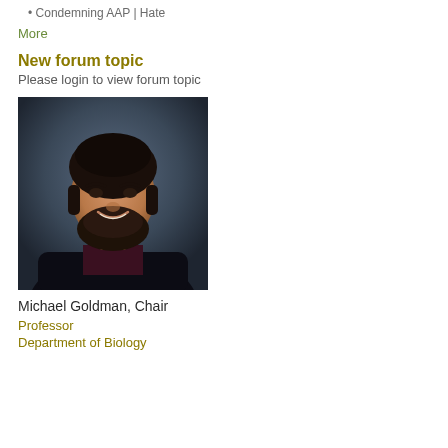Condemning AAP | Hate
More
New forum topic
Please login to view forum topic
[Figure (photo): Professional headshot of Michael Goldman, a man with dark curly hair and beard, wearing a dark blazer over a dark shirt, photographed against a blue-gray background]
Michael Goldman, Chair
Professor
Department of Biology